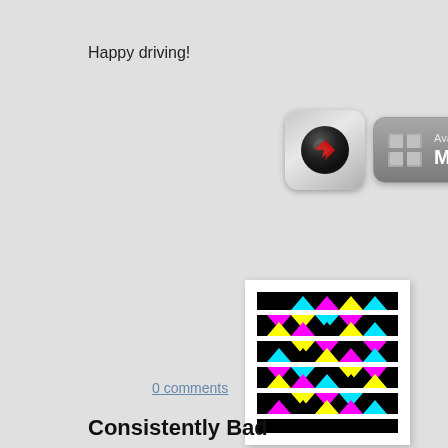Happy driving!
[Figure (screenshot): App icon with dark sphere and red arrow, and Windows Phone 7 Marketplace badge button]
[Figure (illustration): Colorful CMYK triangle pattern on black background with white horizontal stripes]
0 comments
Consistently Bad